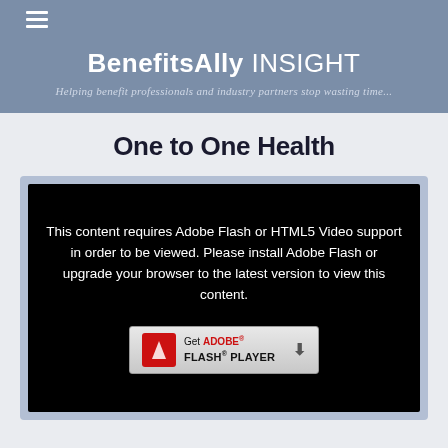BenefitsAlly INSIGHT
Helping benefit professionals and industry partners stop wasting time...
One to One Health
[Figure (screenshot): Black video player area with message: 'This content requires Adobe Flash or HTML5 Video support in order to be viewed. Please install Adobe Flash or upgrade your browser to the latest version to view this content.' Below the text is a 'Get Adobe Flash Player' button with the Adobe Flash logo icon.]